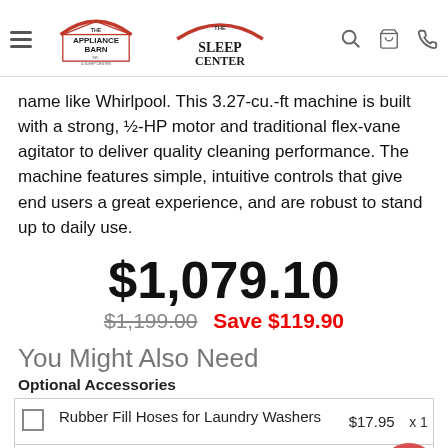The Appliance Barn & Sleep Center / The Sleep Center by The Appliance Barn, Inc. [header with logos and icons]
name like Whirlpool. This 3.27-cu.-ft machine is built with a strong, ½-HP motor and traditional flex-vane agitator to deliver quality cleaning performance. The machine features simple, intuitive controls that give end users a great experience, and are robust to stand up to daily use.
$1,079.10
$1,199.00  Save $119.90
You Might Also Need
Optional Accessories
|  | Item | Price | Qty |
| --- | --- | --- | --- |
| ☐ | Rubber Fill Hoses for Laundry Washers | $17.95 | x 1 |
| ☐ | Steel Fill Hoses for Laundry Washers | $19.95 | x 1 |